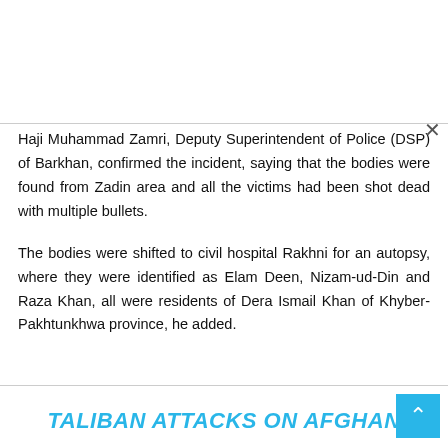Haji Muhammad Zamri, Deputy Superintendent of Police (DSP) of Barkhan, confirmed the incident, saying that the bodies were found from Zadin area and all the victims had been shot dead with multiple bullets.
The bodies were shifted to civil hospital Rakhni for an autopsy, where they were identified as Elam Deen, Nizam-ud-Din and Raza Khan, all were residents of Dera Ismail Khan of Khyber-Pakhtunkhwa province, he added.
TALIBAN ATTACKS ON AFGHAN BORDER CHECKPOINTS AT...